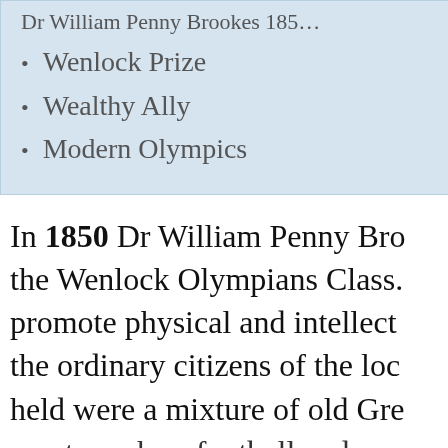Wenlock Prize
Wealthy Ally
Modern Olympics
In 1850 Dr William Penny Bro… the Wenlock Olympians Class. promote physical and intellect… the ordinary citizens of the loc… held were a mixture of old Gre… sports such as football and…